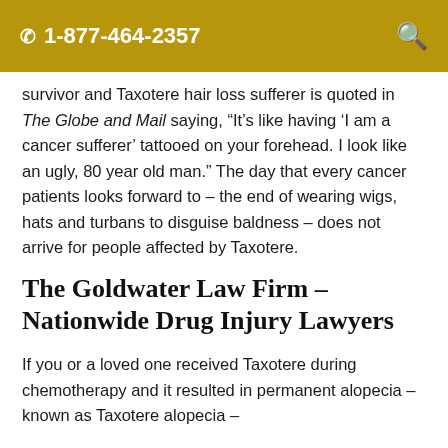1-877-464-2357
survivor and Taxotere hair loss sufferer is quoted in The Globe and Mail saying, “It’s like having ‘I am a cancer sufferer’ tattooed on your forehead. I look like an ugly, 80 year old man.” The day that every cancer patients looks forward to – the end of wearing wigs, hats and turbans to disguise baldness – does not arrive for people affected by Taxotere.
The Goldwater Law Firm – Nationwide Drug Injury Lawyers
If you or a loved one received Taxotere during chemotherapy and it resulted in permanent alopecia – known as Taxotere alopecia –